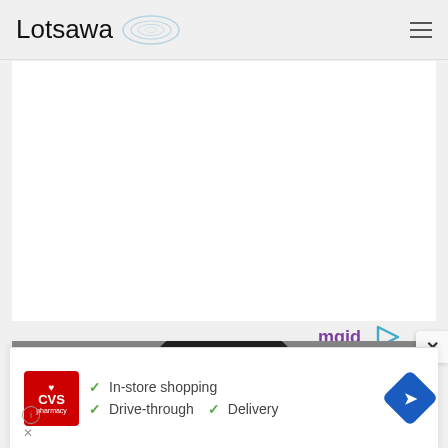Lotsawa
[Figure (screenshot): White content card area, blank/loading]
[Figure (logo): MGID logo with play icon and blue underline]
[Figure (photo): Partial photo of a person with dark hair, top of head and eyes visible, on grey background]
[Figure (screenshot): CVS Pharmacy advertisement banner with checkmarks listing: In-store shopping, Drive-through, Delivery, with navigation arrow icon]
[Figure (other): Close X button (white square with x) on right side]